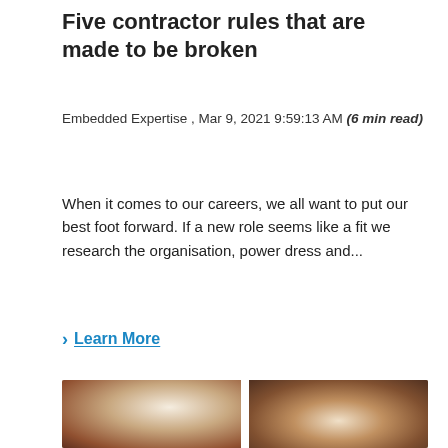Five contractor rules that are made to be broken
Embedded Expertise , Mar 9, 2021 9:59:13 AM (6 min read)
When it comes to our careers, we all want to put our best foot forward. If a new role seems like a fit we research the organisation, power dress and...
> Learn More
[Figure (photo): Two side-by-side photos: left shows two people in conversation (man with back turned facing another person in an office setting), right shows a smiling woman with curly hair in a bright indoor setting with plants]